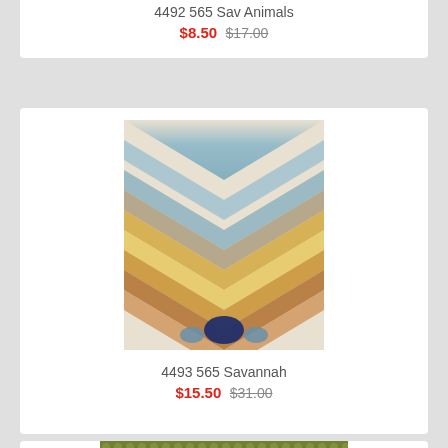4492 565 Sav Animals
$8.50 $17.00
[Figure (photo): Chevron zigzag patterned fabric swatch with blue, gold/yellow, brown, orange, and navy colors]
4493 565 Savannah
$15.50 $31.00
[Figure (photo): Olive green textured fabric swatch with circular dot pattern]